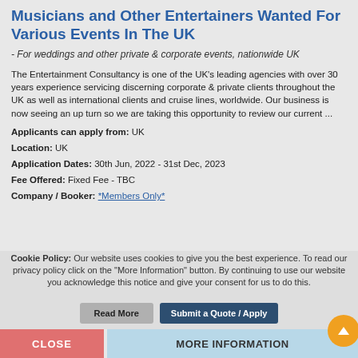Musicians and Other Entertainers Wanted For Various Events In The UK
- For weddings and other private & corporate events, nationwide UK
The Entertainment Consultancy is one of the UK's leading agencies with over 30 years experience servicing discerning corporate & private clients throughout the UK as well as international clients and cruise lines, worldwide. Our business is now seeing an up turn so we are taking this opportunity to review our current ...
Applicants can apply from: UK
Location: UK
Application Dates: 30th Jun, 2022 - 31st Dec, 2023
Fee Offered: Fixed Fee - TBC
Company / Booker: *Members Only*
Cookie Policy: Our website uses cookies to give you the best experience. To read our privacy policy click on the "More Information" button. By continuing to use our website you acknowledge this notice and give your consent for us to do this.